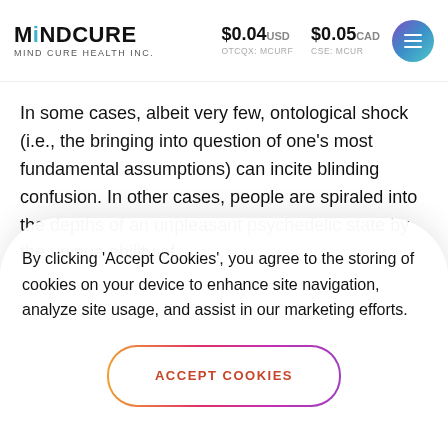MINDCURE | MIND CURE HEALTH INC. | $0.04 USD OTCQX: MCURF | $0.05 CAD CSE: MCUR
In some cases, albeit very few, ontological shock (i.e., the bringing into question of one's most fundamental assumptions) can incite blinding confusion. In other cases, people are spiraled into the depths of an unpleasant psychedelic state by the unique ability of
By clicking 'Accept Cookies', you agree to the storing of cookies on your device to enhance site navigation, analyze site usage, and assist in our marketing efforts.